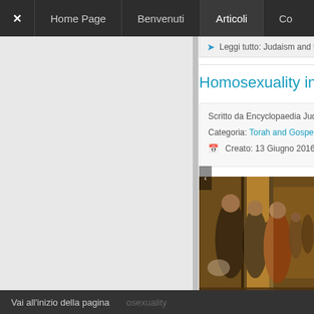✕   Home Page   Benvenuti   Articoli   Co
Leggi tutto: Judaism and th
Homosexuality in th
Scritto da Encyclopaedia Judaica
Categoria: Torah and Gospel
Creato: 13 Giugno 2016
[Figure (photo): Biblical/historical painting depicting robed figures at a doorway, classical artwork style in warm brown tones]
Amo the exte reas inclu
0 Co
Vai all'inizio della pagina   osexuality